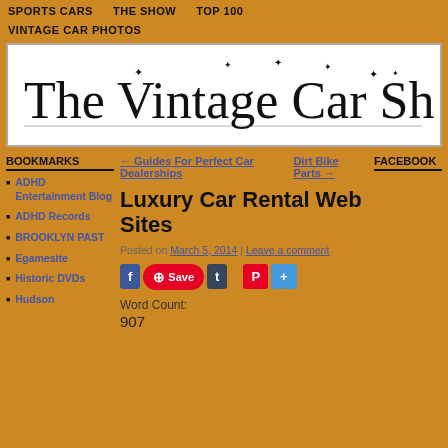SPORTS CARS   THE SHOW   TOP 100
VINTAGE CAR PHOTOS
[Figure (logo): The Vintage Car Show logo in stylized serif font on white background with sparkle/star decorations]
BOOKMARKS
ADHD Entertainment Blog
ADHD Records
BROOKLYN PAST
Egamesite
Historic DVDs
Hudson
← Guides For Perfect Car Dealerships
Dirt Bike Parts →
FACEBOOK
Luxury Car Rental Web Sites
Posted on March 5, 2014 | Leave a comment
[Figure (infographic): Social sharing buttons: Facebook, Pinterest Save, Tumblr, Pinterest, Share]
Word Count:
907